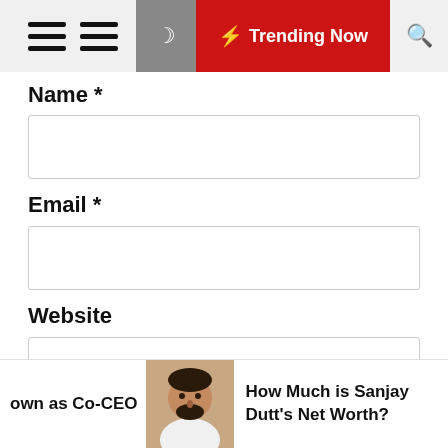≡ ≡  [moon] ⚡ Trending Now [search]
Name *
Email *
Website
Save my name, email, and website in this browser for the next time I comment.
Post Comment
own as Co-CEO  [image: Sanjay Dutt]  How Much is Sanjay Dutt's Net Worth?